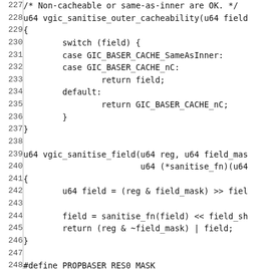Code listing lines 227-256 showing C source code for vgic sanitise functions
227: /* Non-cacheable or same-as-inner are OK. */
228: u64 vgic_sanitise_outer_cacheability(u64 field
229: {
230:         switch (field) {
231:         case GIC_BASER_CACHE_SameAsInner:
232:         case GIC_BASER_CACHE_nC:
233:                 return field;
234:         default:
235:                 return GIC_BASER_CACHE_nC;
236:         }
237: }
238:
239: u64 vgic_sanitise_field(u64 reg, u64 field_mas
240:                         u64 (*sanitise_fn)(u64
241: {
242:         u64 field = (reg & field_mask) >> fiel
243:
244:         field = sanitise_fn(field) << field_sh
245:         return (reg & ~field_mask) | field;
246: }
247:
248: #define PROPBASER_RES0_MASK
249:         (GENMASK_ULL(63, 59) | GENMASK_ULL(55,
250: #define PENDBASER_RES0_MASK
251:         (BIT_ULL(63) | GENMASK_ULL(61, 59) | G
252:          GENMASK_ULL(15, 12) | GENMASK_ULL(6,
253:
254: static u64 vgic_sanitise_pendbaser(u64 reg)
255: {
256:         reg = vgic_sanitise_field(reg, GICR_PE